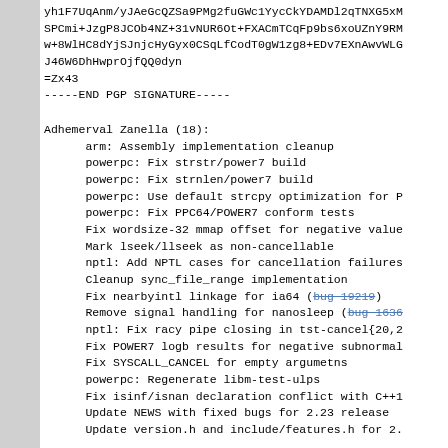yh1F7UqAnm/yJAeGcQZSa9PMg2fuGWc1YycCkYDAMDl2qTNXG5xM
SPCmi+JzgP8JCOb4NZ+31vNUR6Ot+FXACmTCqFp9bs6xoUZnY9RM
w+8WlHC8dYjSJnjcHyGyx0CSqLfCodT0gW1zg8+EDv7EXnAwvWLG
J46W6DhHwprOjfQQ0dyn
=Zx43
-----END PGP SIGNATURE-----
Adhemerval Zanella (18):
      arm: Assembly implementation cleanup
      powerpc: Fix strstr/power7 build
      powerpc: Fix strnlen/power7 build
      powerpc: Use default strcpy optimization for P
      powerpc: Fix PPC64/POWER7 conform tests
      Fix wordsize-32 mmap offset for negative value
      Mark lseek/llseek as non-cancellable
      nptl: Add NPTL cases for cancellation failures
      Cleanup sync_file_range implementation
      Fix nearbyintl linkage for ia64 (bug 19219)
      Remove signal handling for nanosleep (bug 1636
      nptl: Fix racy pipe closing in tst-cancel{20,2
      Fix POWER7 logb results for negative subnormal
      Fix SYSCALL_CANCEL for empty argumetns
      powerpc: Regenerate libm-test-ulps
      Fix isinf/isnan declaration conflict with C++1
      Update NEWS with fixed bugs for 2.23 release
      Update version.h and include/features.h for 2.
Alan Modra (1):
      hppa: start.S: rework references to fix PIE TE